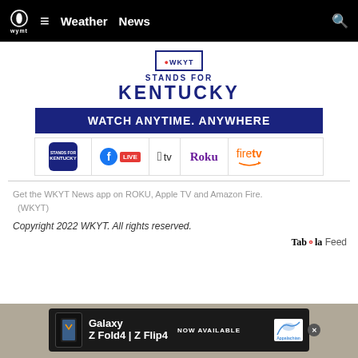WYMT Weather News
[Figure (logo): WKYT Stands for Kentucky promotional logo with CBS eye icon and streaming platforms: Facebook Live, Apple TV, Roku, Fire TV]
Get the WKYT News app on ROKU, Apple TV and Amazon Fire. (WKYT)
Copyright 2022 WKYT. All rights reserved.
Taboola Feed
[Figure (photo): Gray stone/concrete surface background with Samsung Galaxy Z Fold4 | Z Flip4 advertisement banner]
Galaxy Z Fold4 | Z Flip4 NOW AVAILABLE — Appalachian